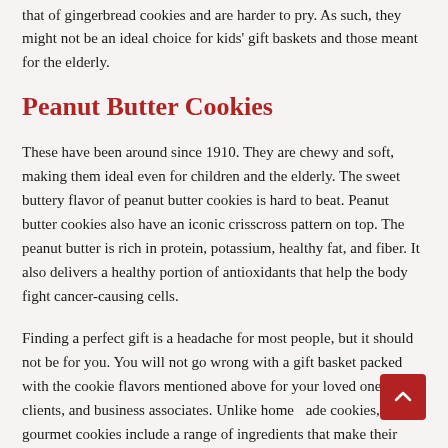that of gingerbread cookies and are harder to pry. As such, they might not be an ideal choice for kids' gift baskets and those meant for the elderly.
Peanut Butter Cookies
These have been around since 1910. They are chewy and soft, making them ideal even for children and the elderly. The sweet buttery flavor of peanut butter cookies is hard to beat. Peanut butter cookies also have an iconic crisscross pattern on top. The peanut butter is rich in protein, potassium, healthy fat, and fiber. It also delivers a healthy portion of antioxidants that help the body fight cancer-causing cells.
Finding a perfect gift is a headache for most people, but it should not be for you. You will not go wrong with a gift basket packed with the cookie flavors mentioned above for your loved ones, clients, and business associates. Unlike homemade cookies, gourmet cookies include a range of ingredients that make their tastes pop without reducing their health benefits